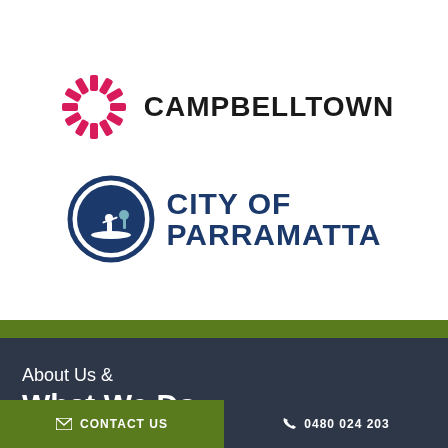[Figure (logo): Campbelltown council logo: a pink/red starburst/asterisk icon on the left, followed by the word CAMPBELLTOWN in bold black uppercase text.]
[Figure (logo): City of Parramatta logo: a dark navy circular seal with a figure in a canoe on the left, followed by CITY OF PARRAMATTA in bold dark navy uppercase text.]
About Us &
What We Do
✉ CONTACT US   ✆ 0480 024 203